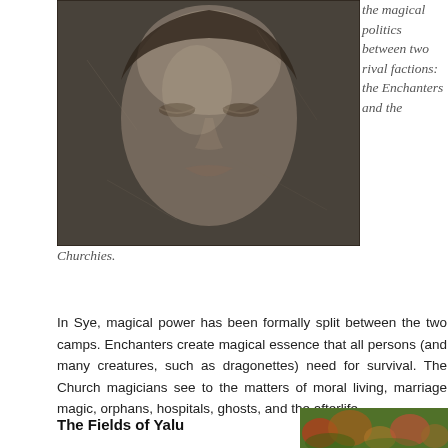[Figure (photo): Close-up black and white photo of a woman's face with eyes closed, textured background]
the magical politics between two rival factions: the Enchanters and the Churchies.
In Sye, magical power has been formally split between the two camps. Enchanters create magical essence that all persons (and many creatures, such as dragonettes) need for survival. The Church magicians see to the matters of moral living, marriage magic, orphans, hospitals, ghosts, and the afterlife.
The Fields of Yalu
[Figure (photo): Colorful garden or floral scene, partially visible at bottom right]